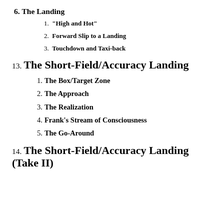6. The Landing
1. "High and Hot"
2. Forward Slip to a Landing
3. Touchdown and Taxi-back
13. The Short-Field/Accuracy Landing
1. The Box/Target Zone
2. The Approach
3. The Realization
4. Frank's Stream of Consciousness
5. The Go-Around
14. The Short-Field/Accuracy Landing (Take II)